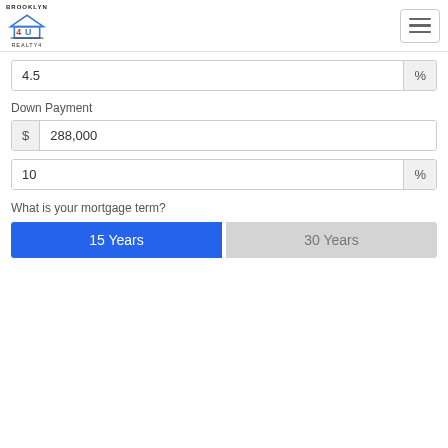[Figure (logo): Brooklyn 4U Realty logo with house icon]
4.5  %
Down Payment
$ 288,000
10  %
What is your mortgage term?
15 Years
30 Years